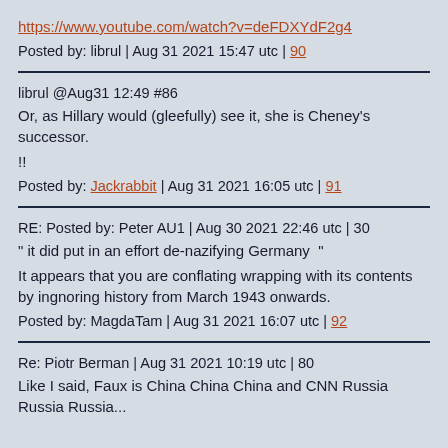https://www.youtube.com/watch?v=deFDXYdF2g4
Posted by: librul | Aug 31 2021 15:47 utc | 90
librul @Aug31 12:49 #86
Or, as Hillary would (gleefully) see it, she is Cheney's successor.
!!
Posted by: Jackrabbit | Aug 31 2021 16:05 utc | 91
RE: Posted by: Peter AU1 | Aug 30 2021 22:46 utc | 30
" it did put in an effort de-nazifying Germany  "
It appears that you are conflating wrapping with its contents by ingnoring history from March 1943 onwards.
Posted by: MagdaTam | Aug 31 2021 16:07 utc | 92
Re: Piotr Berman | Aug 31 2021 10:19 utc | 80
Like I said, Faux is China China China and CNN Russia Russia Russia...